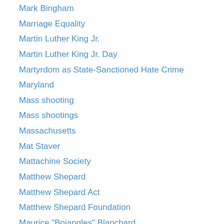Mark Bingham
Marriage Equality
Martin Luther King Jr.
Martin Luther King Jr. Day
Martyrdom as State-Sanctioned Hate Crime
Maryland
Mass shooting
Mass shootings
Massachusetts
Mat Staver
Mattachine Society
Matthew Shepard
Matthew Shepard Act
Matthew Shepard Foundation
Maurice "Bojangles" Blanchard
Mayor Michael Bloomberg
MCC of Greater Dallas
Media Issues
MeetMe.com
Metropolitan Police (D.C.)